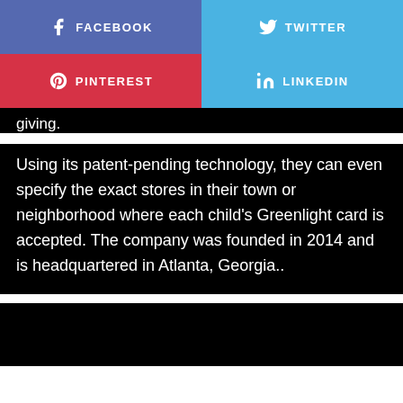[Figure (infographic): Social media share buttons: Facebook (purple-blue), Twitter (light blue), Pinterest (red), LinkedIn (light blue), each with icon and label text]
giving.
Using its patent-pending technology, they can even specify the exact stores in their town or neighborhood where each child's Greenlight card is accepted. The company was founded in 2014 and is headquartered in Atlanta, Georgia..
[Figure (other): Black rectangle at bottom of page]